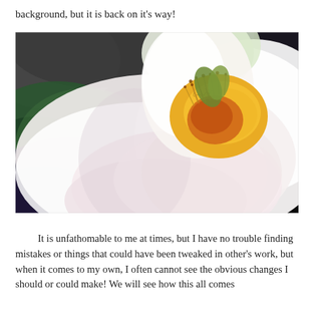background, but it is back on it's way!
[Figure (illustration): A watercolor painting of a white flower (likely a peony or camellia) with yellow and orange stamens in the center, set against a dark background of charcoal grey and deep green watercolor washes. The petals are soft white with subtle pink blush tones.]
It is unfathomable to me at times, but I have no trouble finding mistakes or things that could have been tweaked in other's work, but when it comes to my own, I often cannot see the obvious changes I should or could make! We will see how this all comes